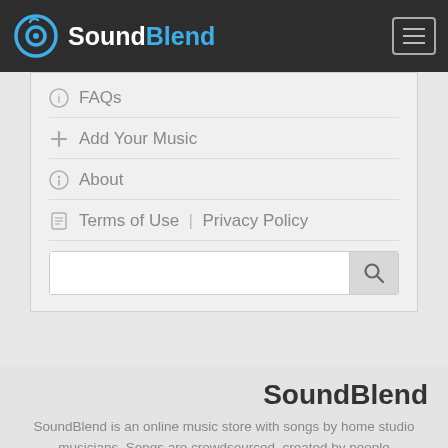SoundBlend
FAQs
Add Your Music
About
Terms of Use | Privacy Policy
SoundBlend
SoundBlend is an online music store with songs by home studio musicians. Songs are crowdsourced, created by people collaborating from around the world.
[Figure (logo): Facebook and Twitter social media icons]
Proudly designed, built, and hosted in the U.S.A., v2.7.62
© 2022 SoundBlend, Kammer